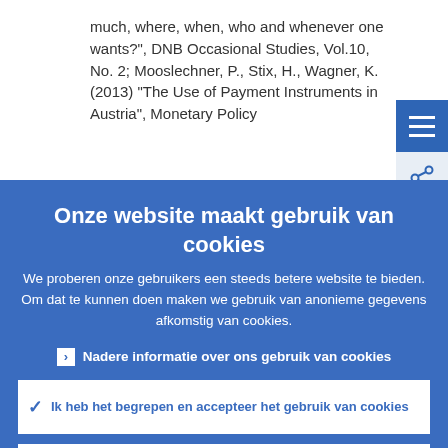much, where, when, who and whenever one wants?", DNB Occasional Studies, Vol.10, No. 2; Mooslechner, P., Stix, H., Wagner, K. (2013) "The Use of Payment Instruments in Austria", Monetary Policy
Onze website maakt gebruik van cookies
We proberen onze gebruikers een steeds betere website te bieden. Om dat te kunnen doen maken we gebruik van anonieme gegevens afkomstig van cookies.
▶ Nadere informatie over ons gebruik van cookies
✓ Ik heb het begrepen en accepteer het gebruik van cookies
✗ Ik weiger cookies